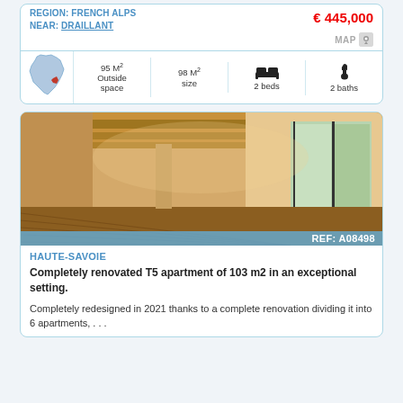REGION: FRENCH ALPS
€ 445,000
NEAR: DRAILLANT
MAP
[Figure (infographic): Property stats row: France map silhouette, 95 M² Outside space, 98 M² size, 2 beds icon, 2 baths icon]
[Figure (photo): Interior of a renovated apartment showing wooden ceiling beams, hardwood floors, white walls, and a large floor-to-ceiling window/sliding door with garden view]
REF: A08498
HAUTE-SAVOIE
Completely renovated T5 apartment of 103 m2 in an exceptional setting.
Completely redesigned in 2021 thanks to a complete renovation dividing it into 6 apartments, . . .